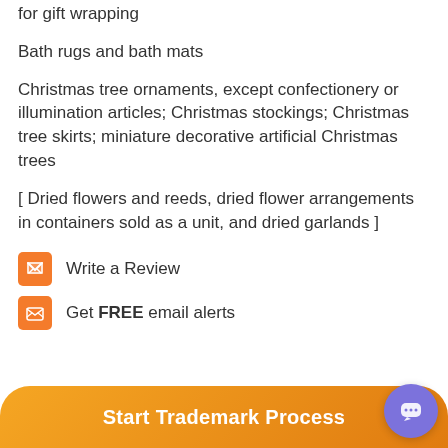for gift wrapping
Bath rugs and bath mats
Christmas tree ornaments, except confectionery or illumination articles; Christmas stockings; Christmas tree skirts; miniature decorative artificial Christmas trees
[ Dried flowers and reeds, dried flower arrangements in containers sold as a unit, and dried garlands ]
Write a Review
Get FREE email alerts
Start Trademark Process